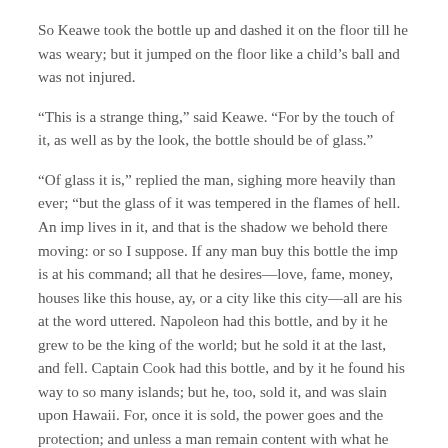So Keawe took the bottle up and dashed it on the floor till he was weary; but it jumped on the floor like a child’s ball and was not injured.
“This is a strange thing,” said Keawe. “For by the touch of it, as well as by the look, the bottle should be of glass.”
“Of glass it is,” replied the man, sighing more heavily than ever; “but the glass of it was tempered in the flames of hell. An imp lives in it, and that is the shadow we behold there moving: or so I suppose. If any man buy this bottle the imp is at his command; all that he desires—love, fame, money, houses like this house, ay, or a city like this city—all are his at the word uttered. Napoleon had this bottle, and by it he grew to be the king of the world; but he sold it at the last, and fell. Captain Cook had this bottle, and by it he found his way to so many islands; but he, too, sold it, and was slain upon Hawaii. For, once it is sold, the power goes and the protection; and unless a man remain content with what he has, ill will befall him.”
“And yet you talk of selling it yourself?” Keawe said.